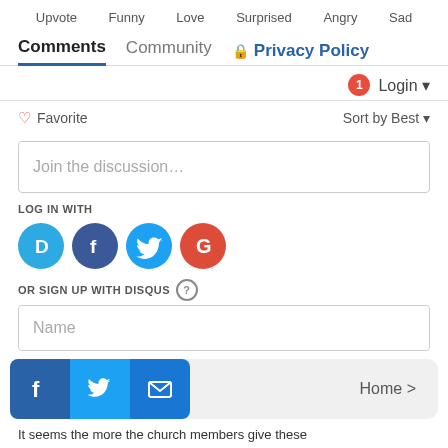Upvote  Funny  Love  Surprised  Angry  Sad
Comments  Community  Privacy Policy
1  Login ▾
♡ Favorite  Sort by Best ▾
Join the discussion…
LOG IN WITH
[Figure (logo): Social login icons: Disqus (D), Facebook (F), Twitter bird, Google (G)]
OR SIGN UP WITH DISQUS ?
Name
[Figure (logo): Bottom bar with Facebook, Twitter, Email icons and Home > link]
It seems the more the church members give these